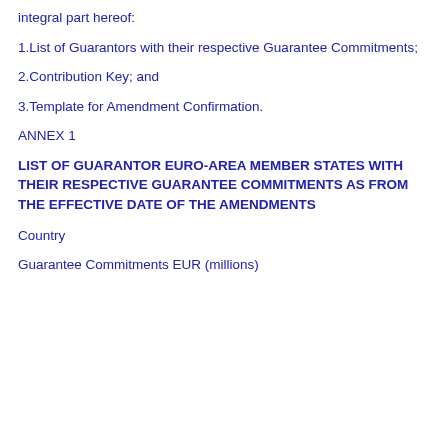integral part hereof:
1.List of Guarantors with their respective Guarantee Commitments;
2.Contribution Key; and
3.Template for Amendment Confirmation.
ANNEX 1
LIST OF GUARANTOR EURO-AREA MEMBER STATES WITH THEIR RESPECTIVE GUARANTEE COMMITMENTS AS FROM THE EFFECTIVE DATE OF THE AMENDMENTS
Country
Guarantee Commitments EUR (millions)